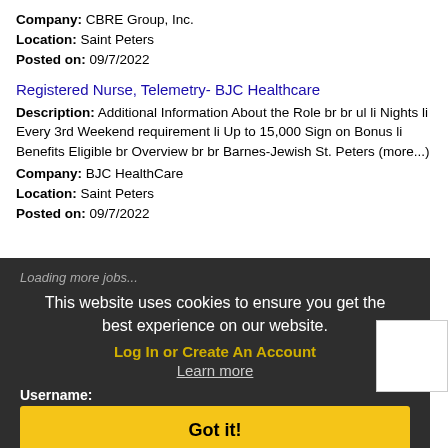Company: CBRE Group, Inc.
Location: Saint Peters
Posted on: 09/7/2022
Registered Nurse, Telemetry- BJC Healthcare
Description: Additional Information About the Role br br ul li Nights li Every 3rd Weekend requirement li Up to 15,000 Sign on Bonus li Benefits Eligible br Overview br br Barnes-Jewish St. Peters (more...)
Company: BJC HealthCare
Location: Saint Peters
Posted on: 09/7/2022
Loading more jobs...
This website uses cookies to ensure you get the best experience on our website.
Log In or Create An Account
Learn more
Username:
Got it!
Password: